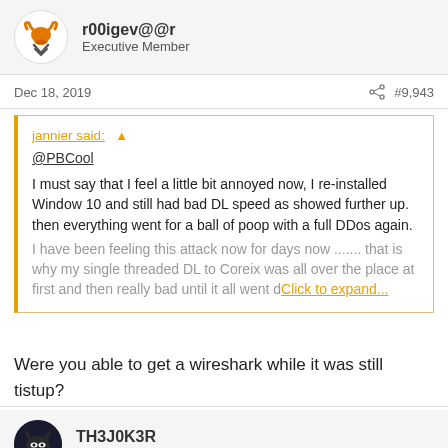[Figure (logo): Forum user avatar - orange bull/longhorn logo on white circle background for user r00igev@@r]
r00igev@@r
Executive Member
Dec 18, 2019
#9,943
jannier said: ↑
@PBCool
I must say that I feel a little bit annoyed now, I re-installed Window 10 and still had bad DL speed as showed further up. then everything went for a ball of poop with a full DDos again.
I have been feeling this attack now for days now ....... that is why my single threaded DL to Coreix was all over the place at first and then really bad until it all went down tonight.
Click to expand...
Were you able to get a wireshark while it was still tistup?
[Figure (photo): Forum user avatar - dark background with Batman/joker style character for user TH3J0K3R]
TH3J0K3R
Member